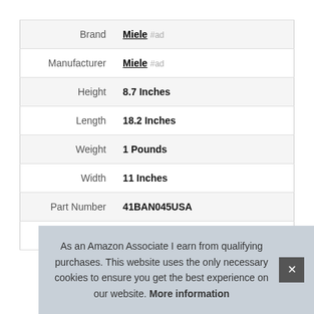| Attribute | Value |
| --- | --- |
| Brand | Miele #ad |
| Manufacturer | Miele #ad |
| Height | 8.7 Inches |
| Length | 18.2 Inches |
| Weight | 1 Pounds |
| Width | 11 Inches |
| Part Number | 41BAN045USA |
| Model | 41BAN045USA |
As an Amazon Associate I earn from qualifying purchases. This website uses the only necessary cookies to ensure you get the best experience on our website. More information